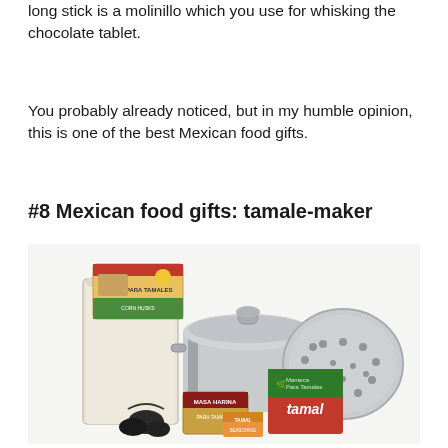long stick is a molinillo which you use for whisking the chocolate tablet.
You probably already noticed, but in my humble opinion, this is one of the best Mexican food gifts.
#8 Mexican food gifts: tamale-maker
[Figure (photo): A tamale-maker kit showing a bag of masa flour with a 'Hojas Para Tamales' label, a large silver steamer pot with lid, a perforated steamer insert, a package of chile pods, and a red 'Tamal' seasoning box, all arranged together on a white background.]